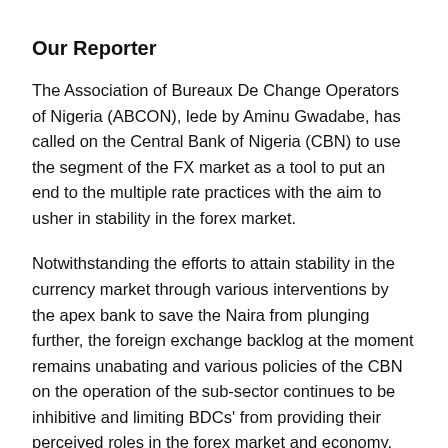Our Reporter
The Association of Bureaux De Change Operators of Nigeria (ABCON), lede by Aminu Gwadabe, has called on the Central Bank of Nigeria (CBN) to use the segment of the FX market as a tool to put an end to the multiple rate practices with the aim to usher in stability in the forex market.
Notwithstanding the efforts to attain stability in the currency market through various interventions by the apex bank to save the Naira from plunging further, the foreign exchange backlog at the moment remains unabating and various policies of the CBN on the operation of the sub-sector continues to be inhibitive and limiting BDCs' from providing their perceived roles in the forex market and economy.